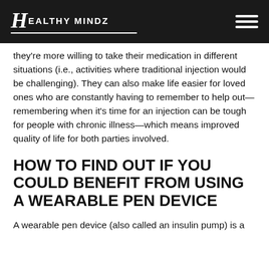HEALTHY MinDZ
they're more willing to take their medication in different situations (i.e., activities where traditional injection would be challenging). They can also make life easier for loved ones who are constantly having to remember to help out—remembering when it's time for an injection can be tough for people with chronic illness—which means improved quality of life for both parties involved.
HOW TO FIND OUT IF YOU COULD BENEFIT FROM USING A WEARABLE PEN DEVICE
A wearable pen device (also called an insulin pump) is a